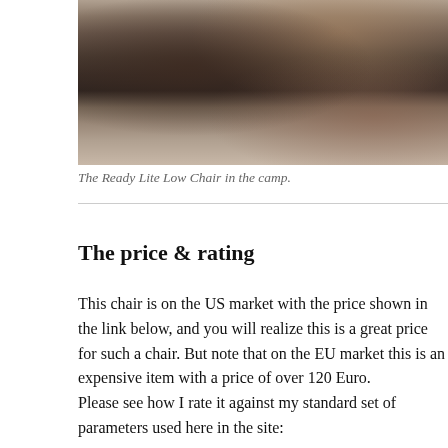[Figure (photo): Photo of a person sitting in a Ready Lite Low Chair at a campsite, outdoors on dry grass with a tent visible in the background.]
The Ready Lite Low Chair in the camp.
The price & rating
This chair is on the US market with the price shown in the link below, and you will realize this is a great price for such a chair. But note that on the EU market this is an expensive item with a price of over 120 Euro.
Please see how I rate it against my standard set of parameters used here in the site: